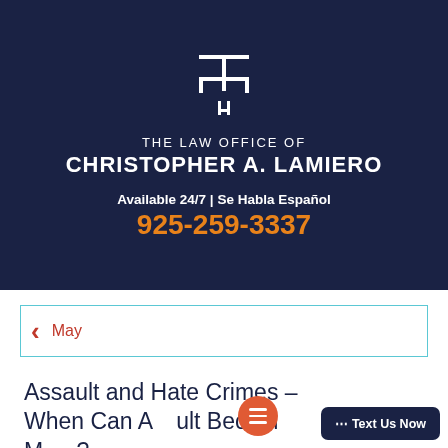[Figure (logo): Logo of The Law Office of Christopher A. Lamiero with stylized scale/pillar icon on dark navy background]
THE LAW OFFICE OF CHRISTOPHER A. LAMIERO
Available 24/7 | Se Habla Español
925-259-3337
May
Assault and Hate Crimes – When Can Assault Become More?